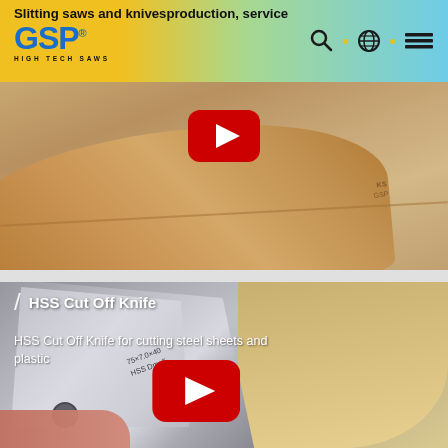Slitting saws and knivesproduction, service
[Figure (screenshot): GSP High Tech Saws website header with logo, search icon, globe icon, and menu icon on a gradient yellow-to-blue background]
[Figure (photo): Close-up photo of a metal slitting saw blade/knife with copper/bronze finish, with a YouTube play button overlay]
[Figure (photo): Close-up photo of an HSS Cut Off Knife made of steel, held in hand, with engraved text '75x7.0x40 HSS Dmo5', with a YouTube play button overlay. Overlay text: '/ HSS Cut Off Knife' and 'HSS Cut Off Knife for cutting steel sheets and plastic']